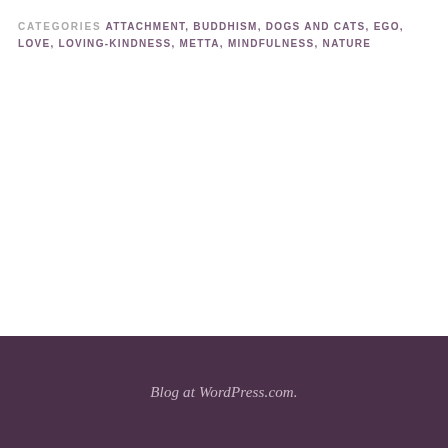CATEGORIES ATTACHMENT, BUDDHISM, DOGS AND CATS, EGO, LOVE, LOVING-KINDNESS, METTA, MINDFULNESS, NATURE
Archives
Blog at WordPress.com.